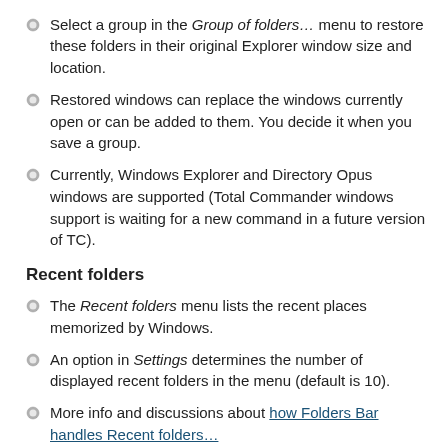the Group of folders... Save Current Folders as Group menu.
Select a group in the Group of folders… menu to restore these folders in their original Explorer window size and location.
Restored windows can replace the windows currently open or can be added to them. You decide it when you save a group.
Currently, Windows Explorer and Directory Opus windows are supported (Total Commander windows support is waiting for a new command in a future version of TC).
Recent folders
The Recent folders menu lists the recent places memorized by Windows.
An option in Settings determines the number of displayed recent folders in the menu (default is 10).
More info and discussions about how Folders Bar handles Recent folders…